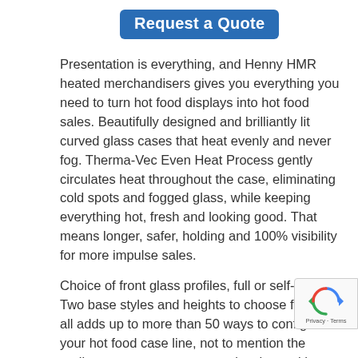Request a Quote
Presentation is everything, and Henny HMR heated merchandisers gives you everything you need to turn hot food displays into hot food sales. Beautifully designed and brilliantly lit curved glass cases that heat evenly and never fog. Therma-Vec Even Heat Process gently circulates heat throughout the case, eliminating cold spots and fogged glass, while keeping everything hot, fresh and looking good. That means longer, safer, holding and 100% visibility for more impulse sales.
Choice of front glass profiles, full or self-serve. Two base styles and heights to choose from. It all adds up to more than 50 ways to configure your hot food case line, not to mention the endless ways you can customise them with accessories
This is a reconditioned model in excellent